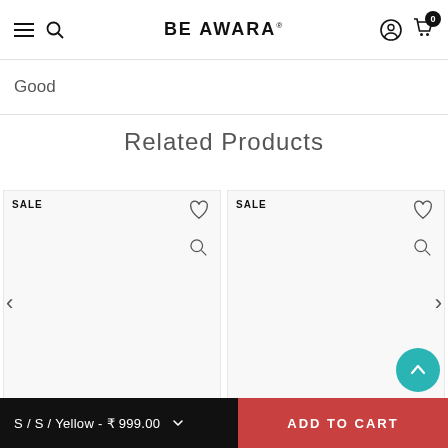BE AWARA
Good
Related Products
SALE
SALE
S / S / Yellow - ₹ 999.00
ADD TO CART